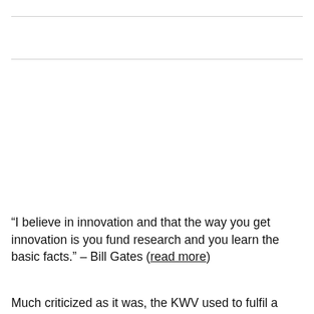“I believe in innovation and that the way you get innovation is you fund research and you learn the basic facts.” – Bill Gates (read more)
Much criticized as it was, the KWV used to fulfil a number